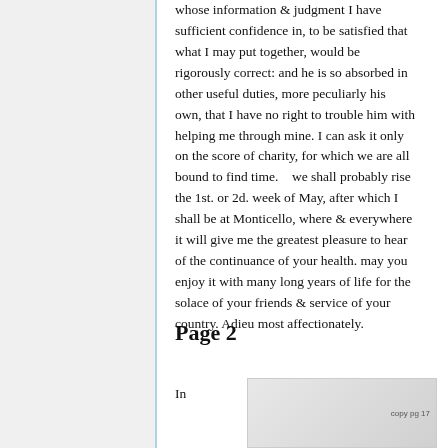whose information & judgment I have sufficient confidence in, to be satisfied that what I may put together, would be rigorously correct: and he is so absorbed in other useful duties, more peculiarly his own, that I have no right to trouble him with helping me through mine. I can ask it only on the score of charity, for which we are all bound to find time.   we shall probably rise the 1st. or 2d. week of May, after which I shall be at Monticello, where & everywhere it will give me the greatest pleasure to hear of the continuance of your health. may you enjoy it with many long years of life for the solace of your friends & service of your country. Adieu most affectionately.
Page 2
In
[Figure (other): Partial view of a manuscript or document page image, partially visible at the bottom of the page.]